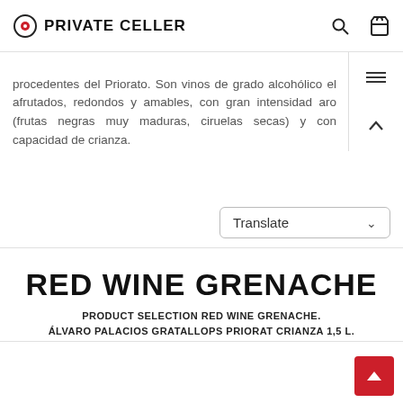PRIVATE CELLER
procedentes del Priorato. Son vinos de grado alcohólico el afrutados, redondos y amables, con gran intensidad aro (frutas negras muy maduras, ciruelas secas) y con capacidad de crianza.
RED WINE GRENACHE
PRODUCT SELECTION RED WINE GRENACHE. ÁLVARO PALACIOS GRATALLOPS PRIORAT CRIANZA 1,5 L.